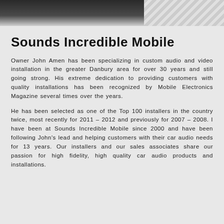[Figure (photo): Dark background image strip at top of page with diagonal striped pattern on the right side]
Sounds Incredible Mobile
Owner John Amen has been specializing in custom audio and video installation in the greater Danbury area for over 30 years and still going strong. His extreme dedication to providing customers with quality installations has been recognized by Mobile Electronics Magazine several times over the years.
He has been selected as one of the Top 100 installers in the country twice, most recently for 2011 – 2012 and previously for 2007 – 2008. I have been at Sounds Incredible Mobile since 2000 and have been following John's lead and helping customers with their car audio needs for 13 years. Our installers and our sales associates share our passion for high fidelity, high quality car audio products and installations.